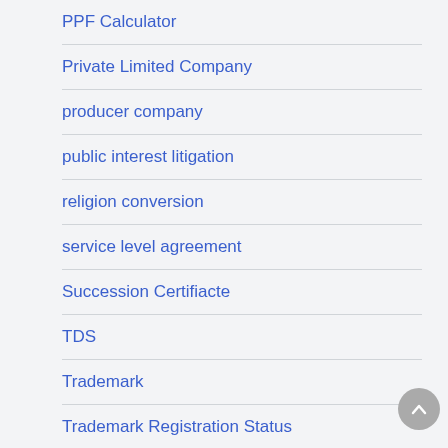PPF Calculator
Private Limited Company
producer company
public interest litigation
religion conversion
service level agreement
Succession Certifiacte
TDS
Trademark
Trademark Registration Status
Uncategorized